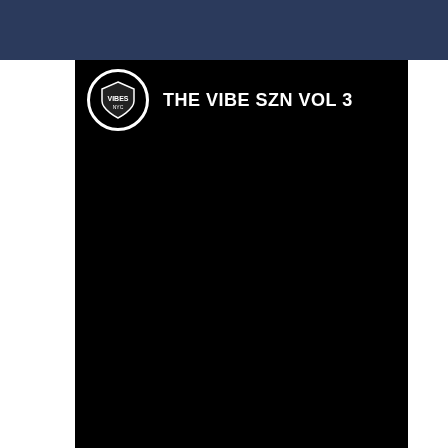[Figure (screenshot): Screenshot of a mobile web page showing a YouTube video embed titled 'THE VIBE SZN VOL 3' with a channel logo, a 'Watch on YouTube' overlay bar, a scroll-up button, a dark navy navigation bar, and four bottom icon buttons (phone, email, Instagram, grid).]